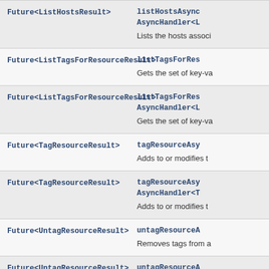| Type | Method / Description |
| --- | --- |
| Future<ListHostsResult> | listHostsAsync
AsyncHandler<L
Lists the hosts associ |
| Future<ListTagsForResourceResult> | listTagsForRes
Gets the set of key-va |
| Future<ListTagsForResourceResult> | listTagsForRes
AsyncHandler<L
Gets the set of key-va |
| Future<TagResourceResult> | tagResourceAsy
Adds to or modifies t |
| Future<TagResourceResult> | tagResourceAsy
AsyncHandler<T
Adds to or modifies t |
| Future<UntagResourceResult> | untagResourceA
Removes tags from a |
| Future<UntagResourceResult> | untagResourceA
AsyncHandler<U |